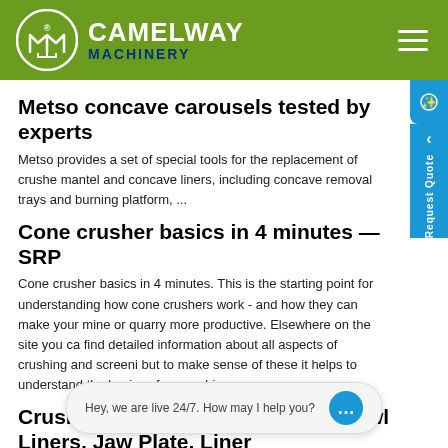CAMELWAY MACHINERY
Metso concave carousels tested by experts
Metso provides a set of special tools for the replacement of crusher mantel and concave liners, including concave removal trays and burning platform, ...
Cone crusher basics in 4 minutes — SRP
Cone crusher basics in 4 minutes. This is the starting point for understanding how cone crushers work - and how they can make your mine or quarry more productive. Elsewhere on the site you can find detailed information about all aspects of crushing and screening, but to make sense of these it helps to understand the basics of cone crushing.
Crusher Liner Concave, Mantle, Bowl Liners, Jaw Plate, Liner
China Crusher Liner Concave, Mantle, Bowl Liners, Jaw Plate, Liner Crusher Liner Concave manufacturers, producers, suppliers on Global Sources